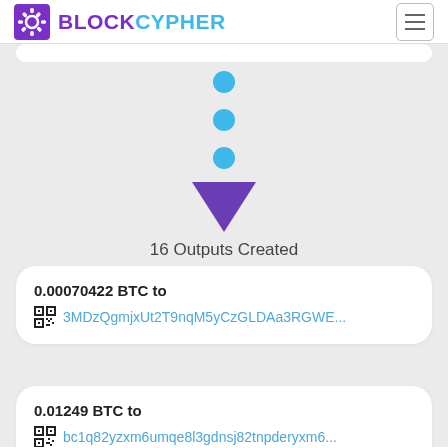[Figure (logo): BlockCypher logo with purple gear icon, BLOCK in purple and CYPHER in blue text]
[Figure (infographic): Three blue dots vertically arranged above a purple downward-pointing triangle arrow, indicating flow/outputs]
16 Outputs Created
0.00070422 BTC to
3MDzQgmjxUt2T9nqM5yCzGLDAa3RGWE...
0.01249 BTC to
bc1q82yzxm6umqe8l3gdnsj82tnpderyxm6...